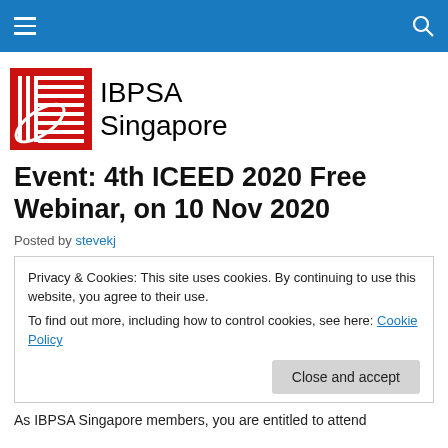Navigation bar with hamburger menu and search icon
[Figure (logo): IBPSA Singapore logo with red grid/lines graphic and text 'IBPSA Singapore']
Event: 4th ICEED 2020 Free Webinar, on 10 Nov 2020
Posted by stevekj
Privacy & Cookies: This site uses cookies. By continuing to use this website, you agree to their use.
To find out more, including how to control cookies, see here: Cookie Policy
As IBPSA Singapore members, you are entitled to attend